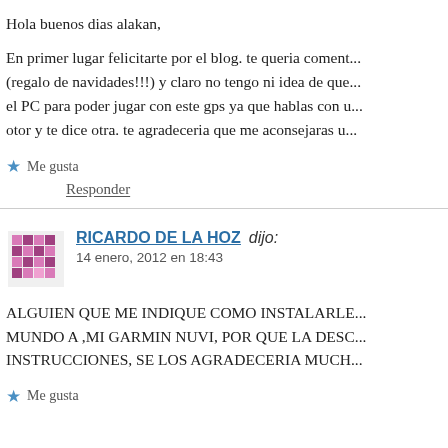Hola buenos dias alakan,
En primer lugar felicitarte por el blog. te queria coment... (regalo de navidades!!!) y claro no tengo ni idea de que... el PC para poder jugar con este gps ya que hablas con u... otor y te dice otra. te agradeceria que me aconsejaras u...
Me gusta
Responder
RICARDO DE LA HOZ dijo:
14 enero, 2012 en 18:43
ALGUIEN QUE ME INDIQUE COMO INSTALARLE... MUNDO A ,MI GARMIN NUVI, POR QUE LA DESC... INSTRUCCIONES, SE LOS AGRADECERIA MUCH...
Me gusta